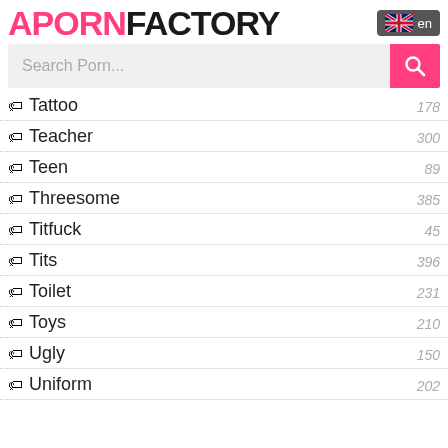A PORN FACTORY en
Search Porn...
Tattoo 178
Teacher 300
Teen 89
Threesome 385
Titfuck 45
Tits 396
Toilet 231
Toys 210
Ugly 150
Uniform 202